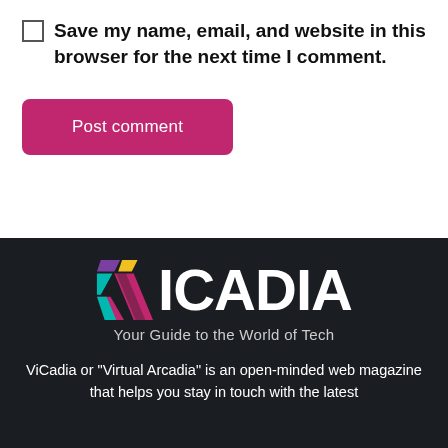Save my name, email, and website in this browser for the next time I comment.
Post comment
[Figure (logo): ViCadia logo with colorful V icon and white ICADIA text, tagline: Your Guide to the World of Tech]
ViCadia or "Virtual Arcadia" is an open-minded web magazine that helps you stay in touch with the latest